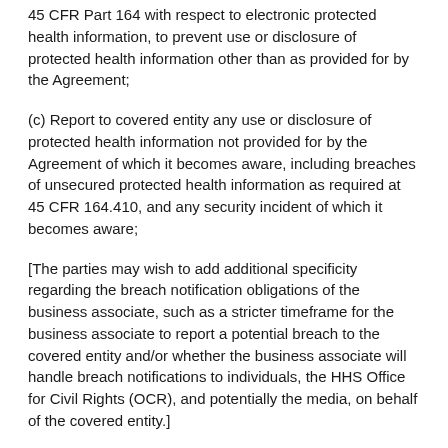45 CFR Part 164 with respect to electronic protected health information, to prevent use or disclosure of protected health information other than as provided for by the Agreement;
(c) Report to covered entity any use or disclosure of protected health information not provided for by the Agreement of which it becomes aware, including breaches of unsecured protected health information as required at 45 CFR 164.410, and any security incident of which it becomes aware;
[The parties may wish to add additional specificity regarding the breach notification obligations of the business associate, such as a stricter timeframe for the business associate to report a potential breach to the covered entity and/or whether the business associate will handle breach notifications to individuals, the HHS Office for Civil Rights (OCR), and potentially the media, on behalf of the covered entity.]
(d) In accordance with 45 CFR 164.502(e)(1)(ii) and 164.308(b)(2), if applicable, ensure that any subcontractors that create, receive, maintain, or transmit protected health information on